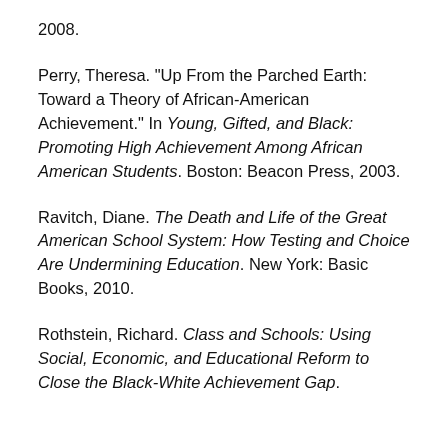2008.
Perry, Theresa. "Up From the Parched Earth: Toward a Theory of African-American Achievement." In Young, Gifted, and Black: Promoting High Achievement Among African American Students. Boston: Beacon Press, 2003.
Ravitch, Diane. The Death and Life of the Great American School System: How Testing and Choice Are Undermining Education. New York: Basic Books, 2010.
Rothstein, Richard. Class and Schools: Using Social, Economic, and Educational Reform to Close the Black-White Achievement Gap.